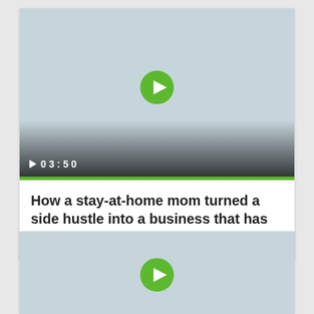[Figure (screenshot): Video thumbnail with light blue-gray background, green circular play button in center, gradient overlay at bottom with play icon and duration '03:50', green progress bar beneath]
How a stay-at-home mom turned a side hustle into a business that has brought in $475,000
[Figure (screenshot): Second video thumbnail with light blue-gray background and green circular play button in center, partially visible]